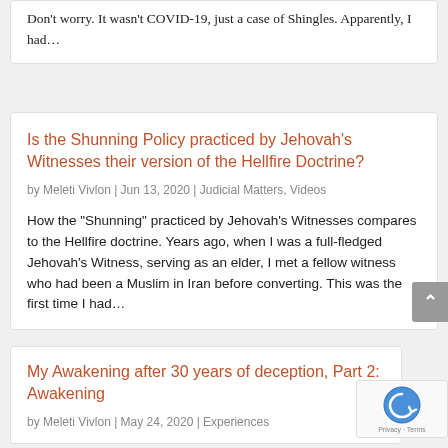Don’t worry. It wasn’t COVID-19, just a case of Shingles.  Apparently, I had…
Is the Shunning Policy practiced by Jehovah’s Witnesses their version of the Hellfire Doctrine?
by Meleti Vivlon | Jun 13, 2020 | Judicial Matters, Videos
How the “Shunning” practiced by Jehovah’s Witnesses compares to the Hellfire doctrine. Years ago, when I was a full-fledged Jehovah’s Witness, serving as an elder, I met a fellow witness who had been a Muslim in Iran before converting. This was the first time I had…
My Awakening after 30 years of deception, Part 2: Awakening
by Meleti Vivlon | May 24, 2020 | Experiences